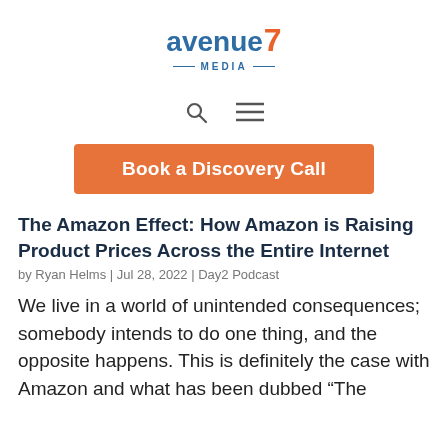[Figure (logo): Avenue 7 Media logo — 'avenue' in blue bold text, '7' in orange, '—MEDIA—' in blue below with dashes]
[Figure (other): Navigation icons: search magnifying glass and hamburger menu icon]
Book a Discovery Call
The Amazon Effect: How Amazon is Raising Product Prices Across the Entire Internet
by Ryan Helms | Jul 28, 2022 | Day2 Podcast
We live in a world of unintended consequences; somebody intends to do one thing, and the opposite happens. This is definitely the case with Amazon and what has been dubbed “The